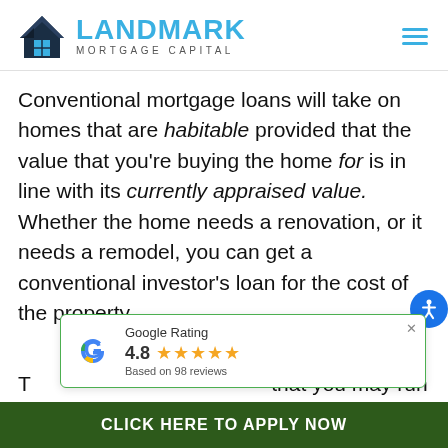[Figure (logo): Landmark Mortgage Capital logo with house icon and blue text]
Conventional mortgage loans will take on homes that are habitable provided that the value that you're buying the home for is in line with its currently appraised value. Whether the home needs a renovation, or it needs a remodel, you can get a conventional investor's loan for the cost of the property.
[Figure (other): Google Rating widget showing 4.8 stars based on 98 reviews]
T... that you may run into
[Figure (other): Click Here to Apply Now green CTA button bar]